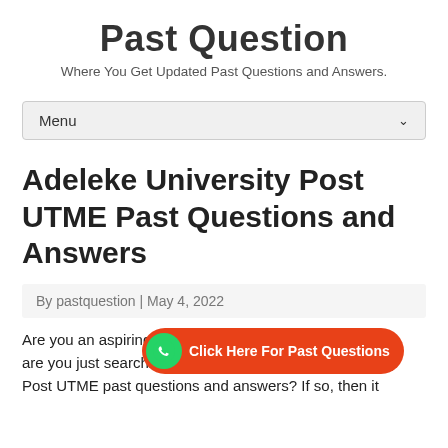Past Question
Where You Get Updated Past Questions and Answers.
Adeleke University Post UTME Past Questions and Answers
By pastquestion | May 4, 2022
Are you an aspiring student or are you just searching the internet for Adeleke University Post UTME past questions and answers? If so, then it